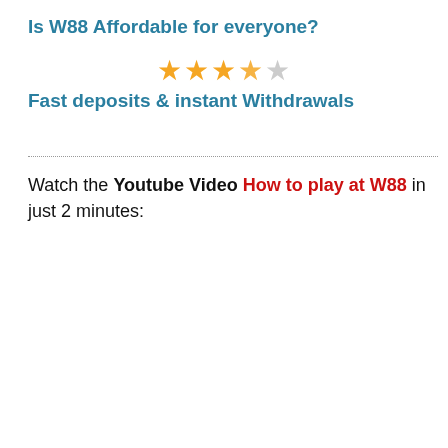Is W88 Affordable for everyone?
[Figure (other): Star rating: 3.5 out of 5 stars (4 filled/half stars and 1 empty star)]
Fast deposits & instant Withdrawals
Watch the Youtube Video How to play at W88 in just 2 minutes: